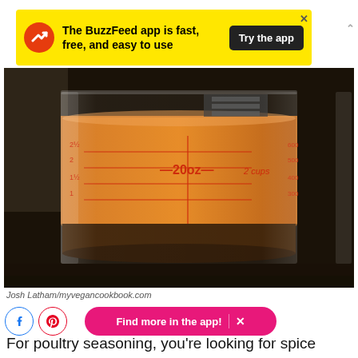[Figure (infographic): BuzzFeed app advertisement banner with yellow background, red circular logo with white arrow, black 'Try the app' button, text 'The BuzzFeed app is fast, free, and easy to use']
[Figure (photo): Close-up photo of a clear glass measuring cup containing orange-brown liquid (poultry seasoning or broth), with red measurement markings visible including 20oz and 2 cups marks, on a dark surface]
Josh Latham/myvegancookbook.com
[Figure (infographic): Pink rounded rectangle button with text 'Find more in the app!' and an X close button, with Facebook and Pinterest social sharing circle icons to the left]
For poultry seasoning, you're looking for spice mixes